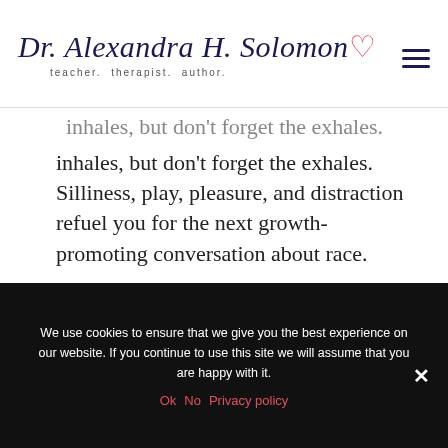[Figure (logo): Dr. Alexandra H. Solomon signature logo with tagline 'teacher. therapist. author.']
inhales, but don't forget the exhales. Silliness, play, pleasure, and distraction refuel you for the next growth-promoting conversation about race.
Being an ally to your White partner as he reckons with the impact of privilege cannot
We use cookies to ensure that we give you the best experience on our website. If you continue to use this site we will assume that you are happy with it.
Ok   No   Privacy policy